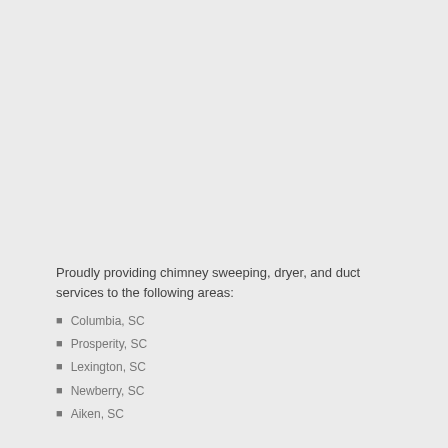Proudly providing chimney sweeping, dryer, and duct services to the following areas:
Columbia, SC
Prosperity, SC
Lexington, SC
Newberry, SC
Aiken, SC